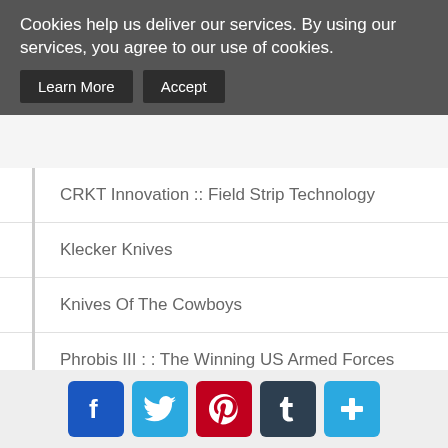Cookies help us deliver our services. By using our services, you agree to our use of cookies.
Learn More
Accept
CRKT Innovation :: Field Strip Technology
Klecker Knives
Knives Of The Cowboys
Phrobis III : : The Winning US Armed Forces Bayonet
The Torture Of Aregos
Classic Swiss Champ Pocket Knife
3 Tools From Timberline Knives Reviewed
Buck Knives 0070BKSBH Buck Hood Thug Knife
Extrema Ratio RAO Folder Folding Knife
[Figure (infographic): Social share buttons: Facebook, Twitter, Pinterest, Tumblr, Add/Share]